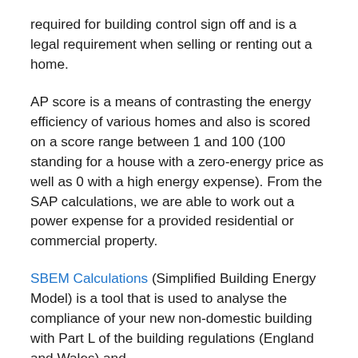required for building control sign off and is a legal requirement when selling or renting out a home.
AP score is a means of contrasting the energy efficiency of various homes and also is scored on a score range between 1 and 100 (100 standing for a house with a zero-energy price as well as 0 with a high energy expense). From the SAP calculations, we are able to work out a power expense for a provided residential or commercial property.
SBEM Calculations (Simplified Building Energy Model) is a tool that is used to analyse the compliance of your new non-domestic building with Part L of the building regulations (England and Wales) and